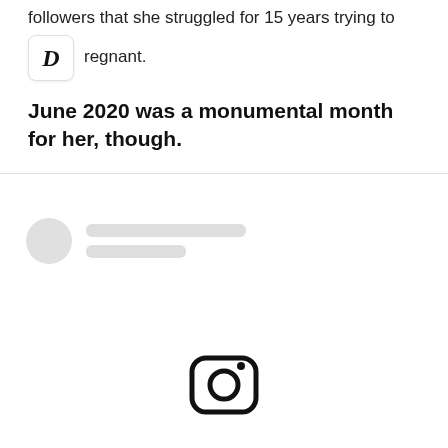followers that she struggled for 15 years trying to
[Figure (logo): App icon with italic bold letter D on white background with rounded corners]
pregnant.
June 2020 was a monumental month for her, though.
[Figure (screenshot): Social media post placeholder with circular avatar placeholder, two gray bars for username and handle, and an Instagram camera icon in the center of the empty post area]